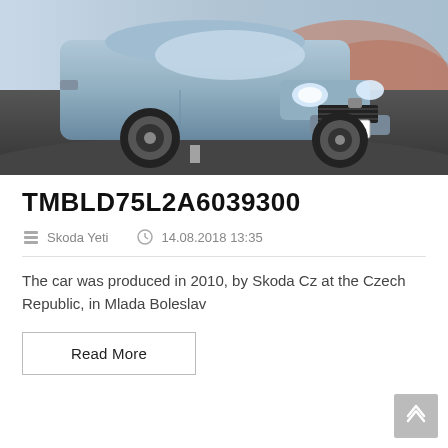[Figure (photo): Front view of a Skoda Yeti SUV in blue-grey color driving on a road, with license plate 6S7 2172, mountains/reddish landscape in background.]
TMBLD75L2A6039300
Skoda Yeti   14.08.2018 13:35
The car was produced in 2010, by Skoda Cz at the Czech Republic, in Mlada Boleslav
Read More